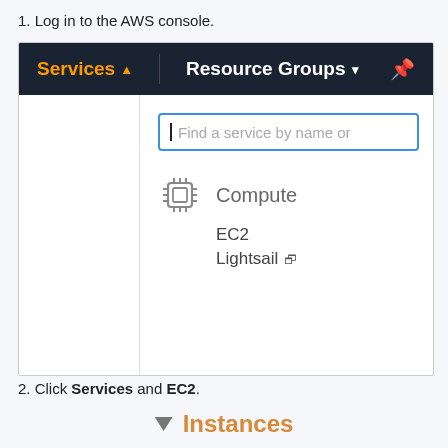1. Log in to the AWS console.
[Figure (screenshot): AWS console screenshot showing the navigation bar with 'Services' (orange) and 'Resource Groups' (white) menus, a dropdown search box labeled 'Find a service by name or', a chip/CPU icon next to 'Compute' heading, and service links 'EC2' and 'Lightsail' with an external link icon.]
2. Click Services and EC2.
[Figure (screenshot): AWS console showing 'Instances' section header with a triangle/arrow icon and orange bold text.]